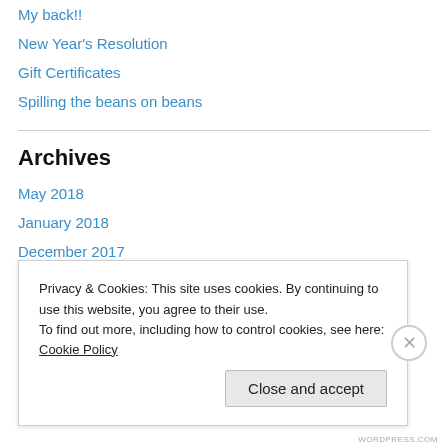My back!!
New Year's Resolution
Gift Certificates
Spilling the beans on beans
Archives
May 2018
January 2018
December 2017
November 2017
August 2017
July 2017
Privacy & Cookies: This site uses cookies. By continuing to use this website, you agree to their use.
To find out more, including how to control cookies, see here: Cookie Policy
Close and accept